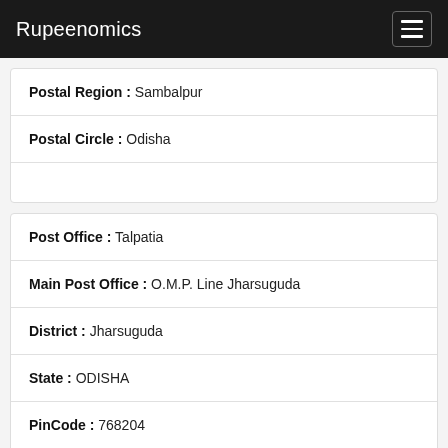Rupeenomics
| Postal Region : | Sambalpur |
| Postal Circle : | Odisha |
| Post Office : | Talpatia |
| Main Post Office : | O.M.P. Line Jharsuguda |
| District : | Jharsuguda |
| State : | ODISHA |
| PinCode : | 768204 |
| Postal Division : | Sambalpur |
| Postal Region : | Sambalpur |